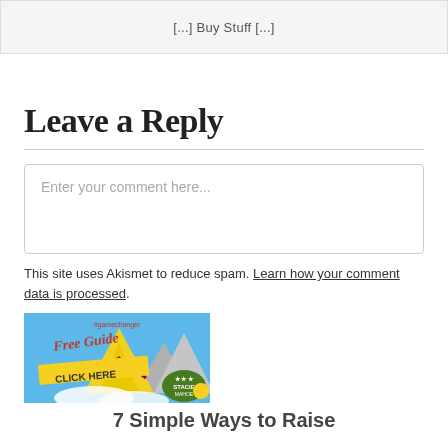[...] Buy Stuff [...]
Leave a Reply
Enter your comment here...
This site uses Akismet to reduce spam. Learn how your comment data is processed.
[Figure (illustration): Advertisement banner with blue background, mountains, and text reading '#gamechanger Free Guide CLICK HERE STACIE MAHOE']
7 Simple Ways to Raise